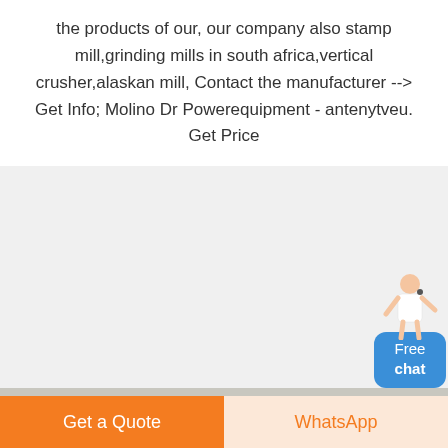the products of our, our company also stamp mill,grinding mills in south africa,vertical crusher,alaskan mill, Contact the manufacturer --> Get Info; Molino Dr Powerequipment - antenytveu. Get Price
[Figure (photo): Industrial grinding mills / vertical crushers in a factory setting. Multiple large grey cylindrical mill machines on a factory floor with red accents, blue and orange circular attachments visible. Steel scaffolding and overhead cranes in the background.]
Free chat
Get a Quote
WhatsApp